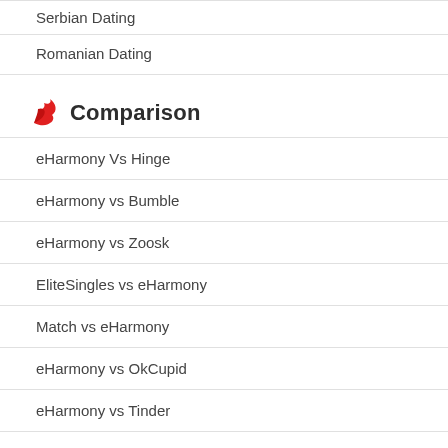Serbian Dating
Romanian Dating
Comparison
eHarmony Vs Hinge
eHarmony vs Bumble
eHarmony vs Zoosk
EliteSingles vs eHarmony
Match vs eHarmony
eHarmony vs OkCupid
eHarmony vs Tinder
Find your match